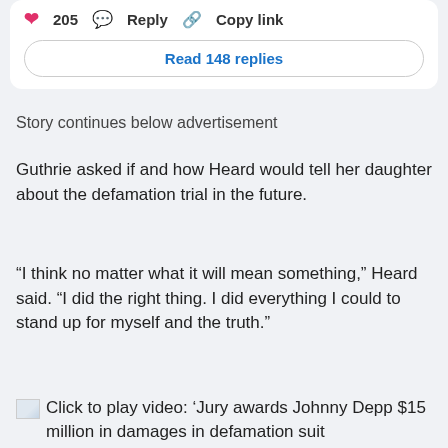[Figure (screenshot): Tweet action bar showing heart icon with count 205, Reply button, and Copy link button, followed by a 'Read 148 replies' button]
Story continues below advertisement
Guthrie asked if and how Heard would tell her daughter about the defamation trial in the future.
“I think no matter what it will mean something,” Heard said. “I did the right thing. I did everything I could to stand up for myself and the truth.”
[Figure (screenshot): Click to play video: 'Jury awards Johnny Depp $15 million in damages in defamation suit']